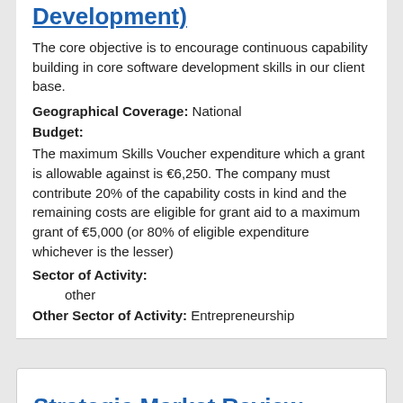Development)
The core objective is to encourage continuous capability building in core software development skills in our client base.
Geographical Coverage: National
Budget:
The maximum Skills Voucher expenditure which a grant is allowable against is €6,250. The company must contribute 20% of the capability costs in kind and the remaining costs are eligible for grant aid to a maximum grant of €5,000 (or 80% of eligible expenditure whichever is the lesser)
Sector of Activity:
other
Other Sector of Activity: Entrepreneurship
Strategic Market Review
This review is designed to bring structure and focus to a company's marketing operations through the use of a